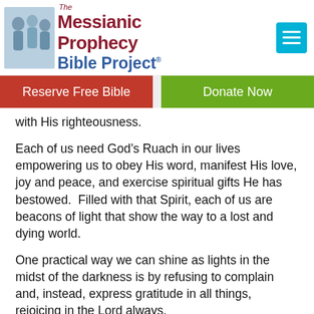[Figure (logo): The Messianic Prophecy Bible Project logo with figures illustration on left and text on right]
Reserve Free Bible | Donate Now
with His righteousness.
Each of us need God's Ruach in our lives empowering us to obey His word, manifest His love, joy and peace, and exercise spiritual gifts He has bestowed.  Filled with that Spirit, each of us are beacons of light that show the way to a lost and dying world.
One practical way we can shine as lights in the midst of the darkness is by refusing to complain and, instead, express gratitude in all things, rejoicing in the Lord always.
“Do everything without complaining or arguing so that you will prove yourselves to be blameless and innocent, children of God above reproach in the midst of a crooked and perverse generation, among whom you appear as lights in the world”